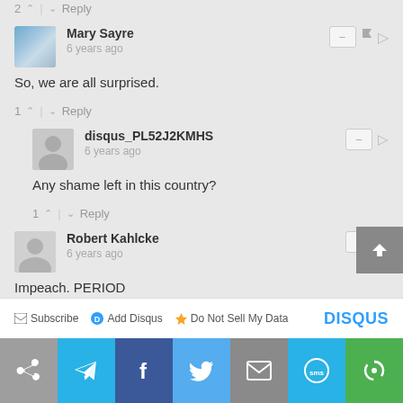2 ^ | v Reply
Mary Sayre
6 years ago
So, we are all surprised.
1 ^ | v Reply
disqus_PL52J2KMHS
6 years ago
Any shame left in this country?
1 ^ | v Reply
Robert Kahlcke
6 years ago
Impeach. PERIOD
^ | v Reply
Subscribe | Add Disqus | Do Not Sell My Data | DISQUS
[Figure (infographic): Social sharing bar with icons: share, Telegram, Facebook, Twitter, email, SMS, and another icon]